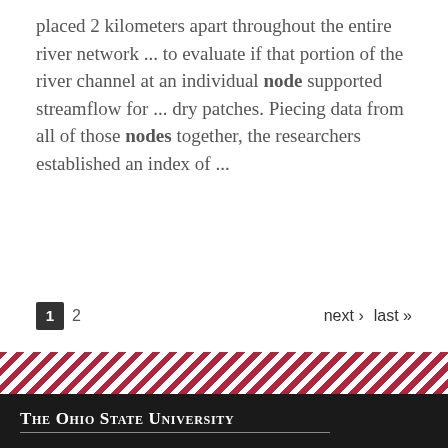placed 2 kilometers apart throughout the entire river network ... to evaluate if that portion of the river channel at an individual node supported streamflow for ... dry patches. Piecing data from all of those nodes together, the researchers established an index of ...
1  2   next › last »
[Figure (other): Diagonal red and white stripe decorative banner strip]
The Ohio State University